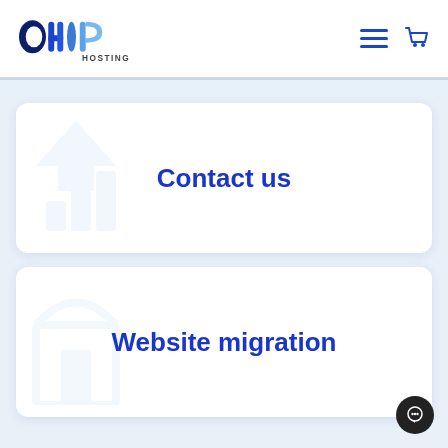[Figure (logo): CHIP Hosting logo with stylized blue letters and hamburger menu icon plus cart icon on the right]
Contact us
Website migration